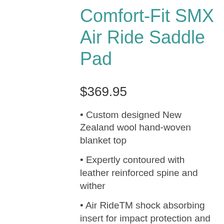Comfort-Fit SMX Air Ride Saddle Pad
$369.95
• Custom designed New Zealand wool hand-woven blanket top
• Expertly contoured with leather reinforced spine and wither
• Air RideTM shock absorbing insert for impact protection and comfort
• Highest quality Merino Wool bottom protects and wicks away moisture
Developed from the horse's back up,